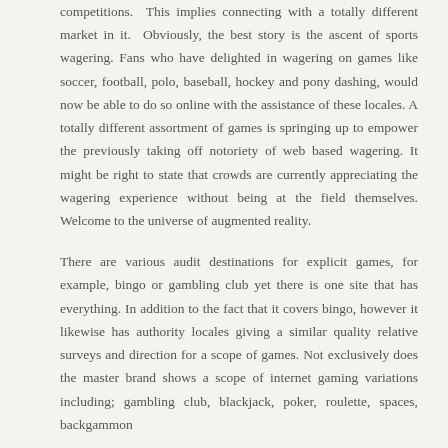competitions. This implies connecting with a totally different market in it. Obviously, the best story is the ascent of sports wagering. Fans who have delighted in wagering on games like soccer, football, polo, baseball, hockey and pony dashing, would now be able to do so online with the assistance of these locales. A totally different assortment of games is springing up to empower the previously taking off notoriety of web based wagering. It might be right to state that crowds are currently appreciating the wagering experience without being at the field themselves. Welcome to the universe of augmented reality.
There are various audit destinations for explicit games, for example, bingo or gambling club yet there is one site that has everything. In addition to the fact that it covers bingo, however it likewise has authority locales giving a similar quality relative surveys and direction for a scope of games. Not exclusively does the master brand shows a scope of internet gaming variations including; gambling club, blackjack, poker, roulette, spaces, backgammon